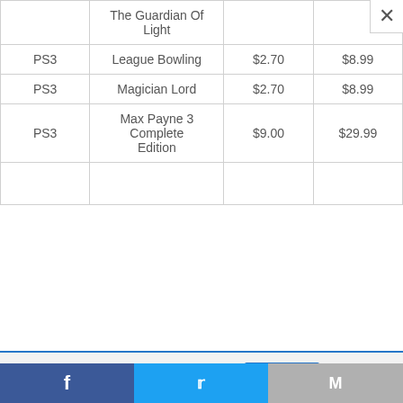|  | The Guardian Of Light |  |  |
| PS3 | League Bowling | $2.70 | $8.99 |
| PS3 | Magician Lord | $2.70 | $8.99 |
| PS3 | Max Payne 3 Complete Edition | $9.00 | $29.99 |
|  |  |  |  |
This website uses cookies.
Accept